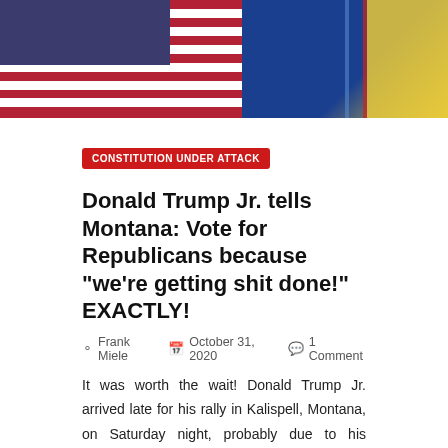[Figure (photo): American flag and other flags including blue and yellow state flags, cropped banner image at the top of the article page.]
CONSTITUTION UNDER ATTACK
Donald Trump Jr. tells Montana: Vote for Republicans because “we’re getting shit done!” EXACTLY!
Frank Miele   October 31, 2020   1 Comment
It was worth the wait! Donald Trump Jr. arrived late for his rally in Kalispell, Montana, on Saturday night, probably due to his grueling schedule of campaign stops this week,...
Read More ›